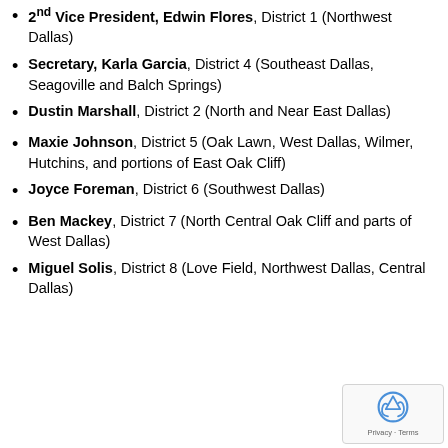2nd Vice President, Edwin Flores, District 1 (Northwest Dallas)
Secretary, Karla Garcia, District 4 (Southeast Dallas, Seagoville and Balch Springs)
Dustin Marshall, District 2 (North and Near East Dallas)
Maxie Johnson, District 5 (Oak Lawn, West Dallas, Wilmer, Hutchins, and portions of East Oak Cliff)
Joyce Foreman, District 6 (Southwest Dallas)
Ben Mackey, District 7 (North Central Oak Cliff and parts of West Dallas)
Miguel Solis, District 8 (Love Field, Northwest Dallas, Central Dallas)